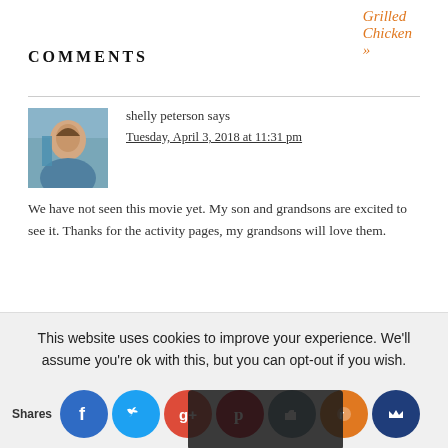Grilled Chicken »
COMMENTS
shelly peterson says
Tuesday, April 3, 2018 at 11:31 pm

We have not seen this movie yet. My son and grandsons are excited to see it. Thanks for the activity pages, my grandsons will love them.
This website uses cookies to improve your experience. We'll assume you're ok with this, but you can opt-out if you wish.
Shares